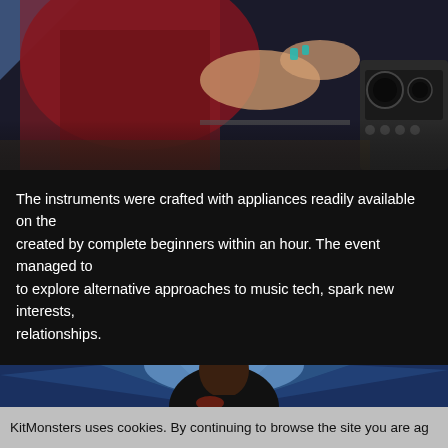[Figure (photo): Close-up photo of people at a music event, showing hands and instruments, person in dark red/maroon top, music equipment visible on right]
The instruments were crafted with appliances readily available on the created by complete beginners within an hour. The event managed to to explore alternative approaches to music tech, spark new interests, relationships.
[Figure (photo): Photo of a Black man in a black graphic t-shirt presenting or speaking, with blue light beams/projection in the background]
KitMonsters uses cookies. By continuing to browse the site you are ag